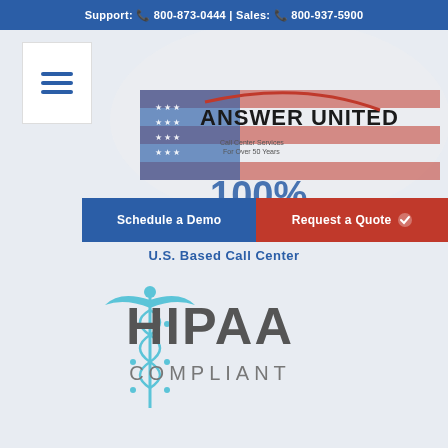Support: 800-873-0444 | Sales: 800-937-5900
[Figure (logo): Answer United call center logo with US flag background and hamburger menu icon]
Schedule a Demo
Request a Quote
U.S. Based Call Center
[Figure (logo): HIPAA Compliant badge with caduceus symbol in light blue and HIPAA COMPLIANT text in dark gray]